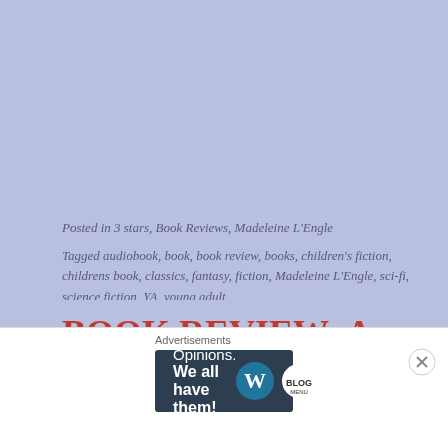Posted in 3 stars, Book Reviews, Madeleine L'Engle
Tagged audiobook, book, book review, books, children's fiction, childrens book, classics, fantasy, fiction, Madeleine L'Engle, sci-fi, science fiction, YA, young adult
BOOK REVIEW: A Wrinkle in Time by Madeleine L'Engle
Advertisements
[Figure (other): Advertisement banner with dark background showing 'Opinions. We all have them!' with WordPress and blog logo icons]